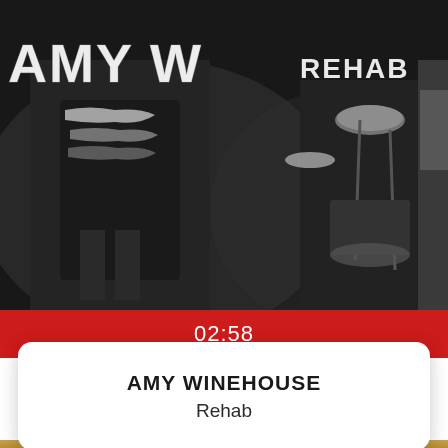[Figure (photo): Concert photo of Amy Winehouse performing on stage, with 'AMY WINEHOUSE' text visible on backdrop and 'REHAB' text partially visible top right. Dark background with drum kit visible.]
02:58
AMY WINEHOUSE
Rehab
[Figure (logo): Nico & Vinz logo on gold/dark-yellow background. Large white text 'NICO' and 'VINZ' with elephant icon between them, and 'AM I WRONG' subtitle below.]